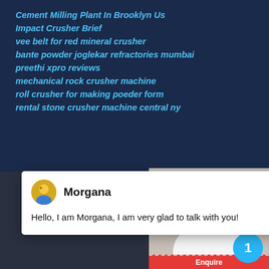Cement Milling Plant In Brooklyn Us
Impact Crusher Brief
vee belt for red mineral crusher
bante powder joglekar refractories mumbai
preethi xpro reviews
mechanical rock crusher machine
roll crusher for making poeder form
rental stone crusher machine central ny
[Figure (screenshot): Chat popup with avatar of Morgana and message: Hello, I am Morgana, I am very glad to talk with you!]
crusher standard hammer
Copyright © 2004-2015 by China Liming Heavy Industry Science and Technology Co. LTD All rights reserved
Products
[Figure (screenshot): Right side chat widget showing customer service agent photo, badge with number 1, Need questions & suggestion? panel, Chat Now button, and Enquire bar at bottom.]